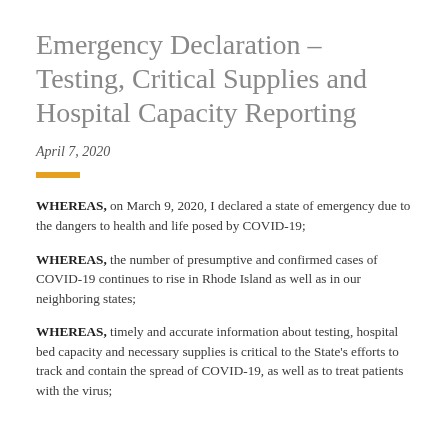Emergency Declaration – Testing, Critical Supplies and Hospital Capacity Reporting
April 7, 2020
WHEREAS, on March 9, 2020, I declared a state of emergency due to the dangers to health and life posed by COVID-19;
WHEREAS, the number of presumptive and confirmed cases of COVID-19 continues to rise in Rhode Island as well as in our neighboring states;
WHEREAS, timely and accurate information about testing, hospital bed capacity and necessary supplies is critical to the State's efforts to track and contain the spread of COVID-19, as well as to treat patients with the virus;